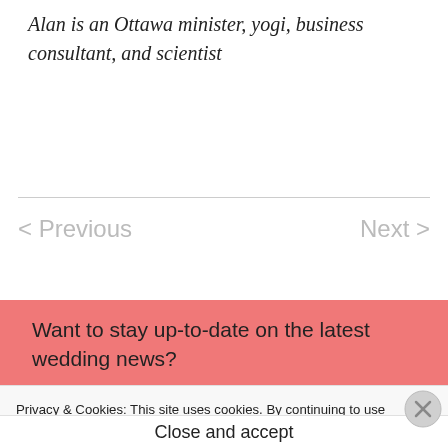Alan is an Ottawa minister, yogi, business consultant, and scientist
< Previous    Next >
Want to stay up-to-date on the latest wedding news?
Enter your email address to follow this
Privacy & Cookies: This site uses cookies. By continuing to use this website, you agree to their use.
To find out more, including how to control cookies, see here: Cookie Policy
Close and accept